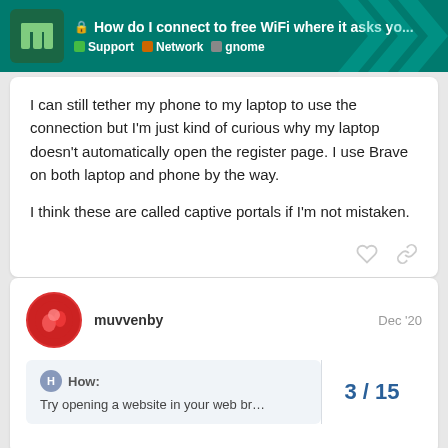How do I connect to free WiFi where it asks yo... | Support | Network | gnome
I can still tether my phone to my laptop to use the connection but I'm just kind of curious why my laptop doesn't automatically open the register page. I use Brave on both laptop and phone by the way.

I think these are called captive portals if I'm not mistaken.
muvvenby  Dec '20
How:
Try opening a website in your web br...
3 / 15